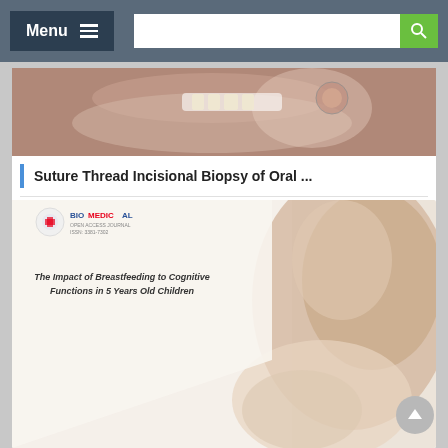Menu | Search bar
[Figure (photo): Dental procedure photo showing teeth and dental instrument]
Suture Thread Incisional Biopsy of Oral ...
Hamad Albagiah And L...
[Figure (photo): Biomedical journal cover showing mother breastfeeding infant, with title: The Impact of Breastfeeding to Cognitive Functions in 5 Years Old Children]